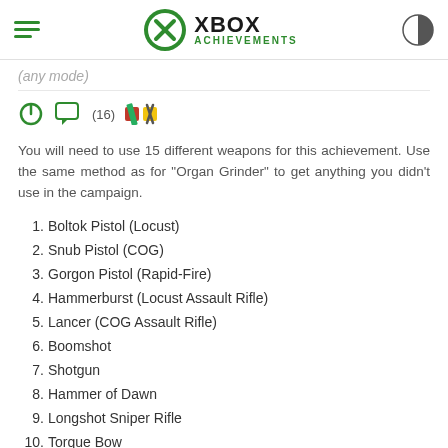XBOX ACHIEVEMENTS
(any mode)
(16) [icons]
You will need to use 15 different weapons for this achievement. Use the same method as for "Organ Grinder" to get anything you didn't use in the campaign.
1. Boltok Pistol (Locust)
2. Snub Pistol (COG)
3. Gorgon Pistol (Rapid-Fire)
4. Hammerburst (Locust Assault Rifle)
5. Lancer (COG Assault Rifle)
6. Boomshot
7. Shotgun
8. Hammer of Dawn
9. Longshot Sniper Rifle
10. Torque Bow
11. Mortar Launcher
12. Mulcher Chain-gun